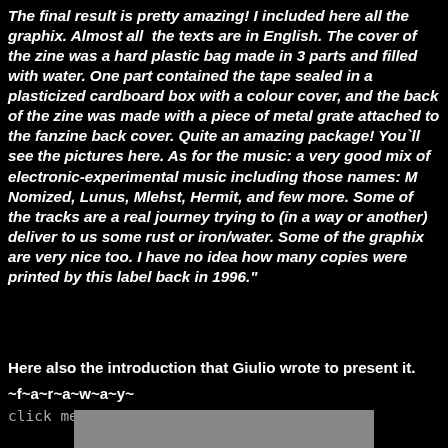The final result is pretty amazing! I included here all the graphix. Almost all the texts are in English. The cover of the zine was a hard plastic bag made in 3 parts and filled with water. One part contained the tape sealed in a plasticized cardboard box with a colour cover, and the back of the zine was made with a piece of metal grate attached to the fanzine back cover. Quite an amazing package! You`ll see the pictures here. As for the music: a very good mix of electronic-experimental music including those names: M Nomized, Lunus, Mlehst, Hermit, and few more. Some of the tracks are a real journey trying to (in a way or another) deliver to us some rust or iron/water. Some of the graphix are very nice too. I have no idea how many copies were printed by this label back in 1996."
Here also the introduction that Giulio wrote to present it.
~f~a~r~a~w~a~y~
click me
[Figure (photo): Partial bottom edge of a photograph or image, showing a grey/beige rectangle strip at the very bottom of the page.]